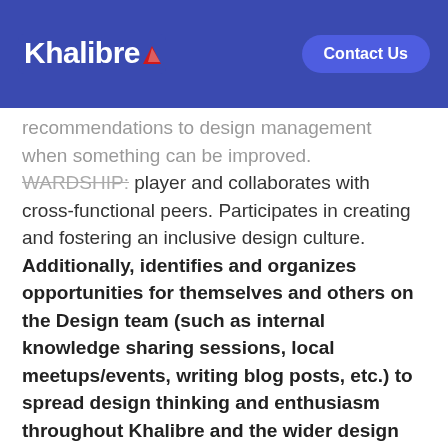Khalibre | Contact Us
recommendations to design management when something can be improved. WARDSHIP: player and collaborates with cross-functional peers. Participates in creating and fostering an inclusive design culture. Additionally, identifies and organizes opportunities for themselves and others on the Design team (such as internal knowledge sharing sessions, local meetups/events, writing blog posts, etc.) to spread design thinking and enthusiasm throughout Khalibre and the wider design community.
Qualifications: REQUIRED SKILLS & EXPERIENCE
Experience in enterprise UX design, a plus